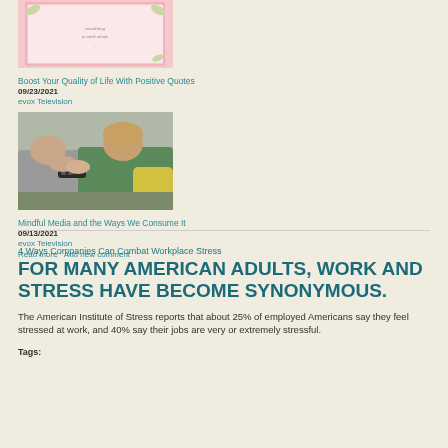[Figure (photo): Decorative card with text on pink background]
Boost Your Quality of Life With Positive Quotes
09/23/2021
evox Television
[Figure (photo): Two people on a couch holding a TV remote]
Mindful Media and the Ways We Consume It
09/13/2021
evox Television
Read more   Add new comment
4 Ways Companies Can Combat Workplace Stress
FOR MANY AMERICAN ADULTS, WORK AND STRESS HAVE BECOME SYNONYMOUS.
The American Institute of Stress reports that about 25% of employed Americans say they feel stressed at work, and 40% say their jobs are very or extremely stressful.
Tags: